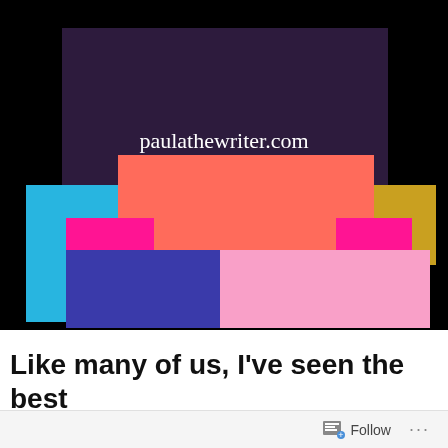[Figure (illustration): Colorful overlapping rectangles forming a bar-chart-like abstract graphic on a black background, with text 'paulathewriter.com' in white serif font centered in a dark purple rectangle at top.]
Like many of us, I've seen the best
Follow ...